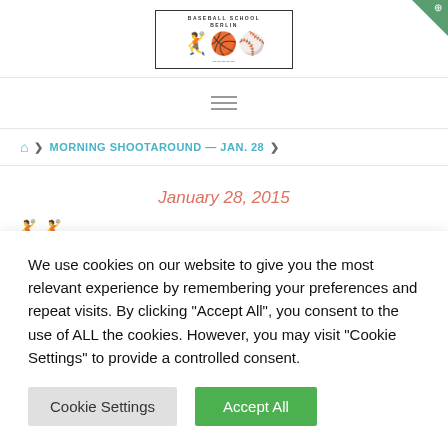[Figure (logo): Baseball School Berlin logo with silhouettes of baseball players, bordered box with text 'BASEBALL SCHOOL BERLIN']
[Figure (illustration): Hamburger menu icon (three horizontal lines)]
🏠 › MORNING SHOOTAROUND — JAN. 28 ›
January 28, 2015
We use cookies on our website to give you the most relevant experience by remembering your preferences and repeat visits. By clicking "Accept All", you consent to the use of ALL the cookies. However, you may visit "Cookie Settings" to provide a controlled consent.